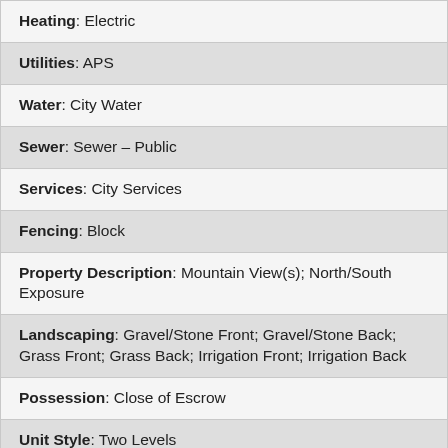| Heating: Electric |
| Utilities: APS |
| Water: City Water |
| Sewer: Sewer – Public |
| Services: City Services |
| Fencing: Block |
| Property Description: Mountain View(s); North/South Exposure |
| Landscaping: Gravel/Stone Front; Gravel/Stone Back; Grass Front; Grass Back; Irrigation Front; Irrigation Back |
| Possession: Close of Escrow |
| Unit Style: Two Levels |
| Association Fee Incl: Street Maint |
| Assoc Rules/Info: Prof Managed |